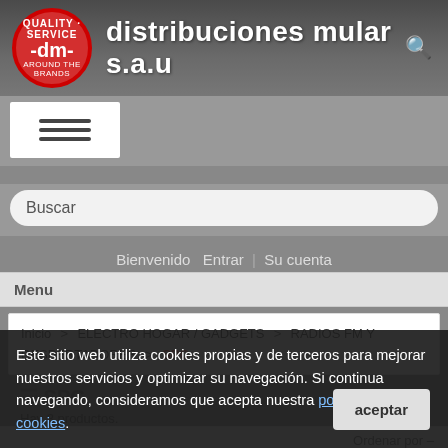[Figure (logo): Distribuciones Mular S.A.U. logo with red circular badge and brand name in white on gray header]
Buscar
Bienvenido  Entrar | Su cuenta
Menu
Inicio > ELECTRO HOGAR / GADGETS > RADIOS FM Y DESPERTADORES > SPC
Hay 3 productos.
Este sitio web utiliza cookies propias y de terceros para mejorar nuestros servicios y optimizar su navegación. Si continua navegando, consideramos que acepta nuestra política de cookies.
Ordenar por –